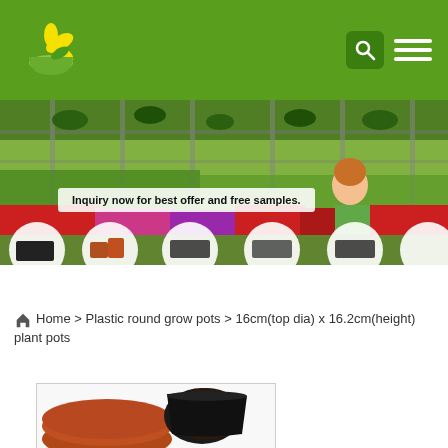[Figure (screenshot): Green website header with flower/bowl logo on left, search icon and hamburger menu on right, on green background]
[Figure (photo): Banner showing a greenhouse with colorful flowers (red, pink, purple), a woman smiling, product thumbnails at bottom including trays and pots]
Inquiry now for best offer and free samples.
Home > Plastic round grow pots > 16cm(top dia) x 16.2cm(height) plant pots
[Figure (photo): Partial photo of brown/black plastic plant pots, one tipped on its side showing the inside]